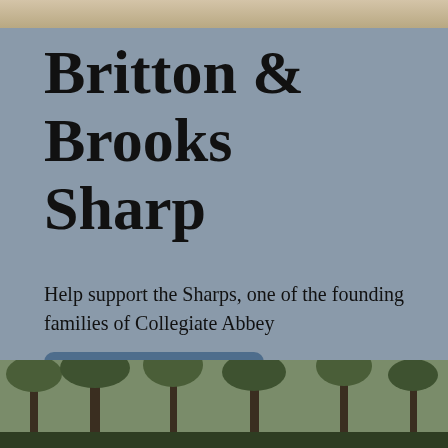[Figure (photo): Partial photo at top of page, appears to show people outdoors]
Britton & Brooks Sharp
Help support the Sharps, one of the founding families of Collegiate Abbey
[Figure (other): Donate button with blue/slate rounded rectangle background]
[Figure (photo): Partial photo at bottom of page showing trees and foliage outdoors]